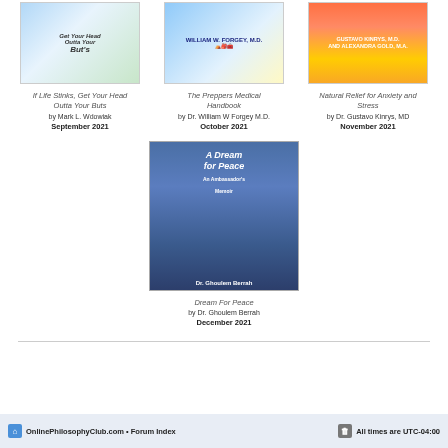[Figure (photo): Book cover: If Life Stinks, Get Your Head Outta Your Buts]
If Life Stinks, Get Your Head Outta Your Buts
by Mark L. Wdowiak
September 2021
[Figure (photo): Book cover: The Preppers Medical Handbook]
The Preppers Medical Handbook
by Dr. William W Forgey M.D.
October 2021
[Figure (photo): Book cover: Natural Relief for Anxiety and Stress]
Natural Relief for Anxiety and Stress
by Dr. Gustavo Kinrys, MD
November 2021
[Figure (photo): Book cover: Dream For Peace by Dr. Ghoulem Berrah]
Dream For Peace
by Dr. Ghoulem Berrah
December 2021
OnlinePhilosophyClub.com • Forum Index    All times are UTC-04:00